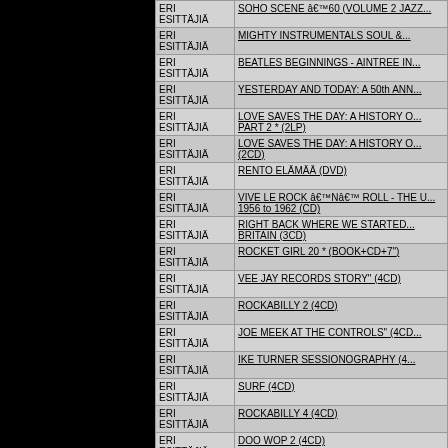| Presenter | Title |
| --- | --- |
| ERI ESITTÄJIÄ | SOHO SCENE â€™60 (VOLUME 2 JAZZ... |
| ERI ESITTÄJIÄ | MIGHTY INSTRUMENTALS SOUL &... |
| ERI ESITTÄJIÄ | BEATLES BEGINNINGS - AINTREE IN... |
| ERI ESITTÄJIÄ | YESTERDAY AND TODAY: A 50th ANN... |
| ERI ESITTÄJIÄ | LOVE SAVES THE DAY: A HISTORY O... PART 2 * (2LP) |
| ERI ESITTÄJIÄ | LOVE SAVES THE DAY: A HISTORY O... (2CD) |
| ERI ESITTÄJIÄ | RENTO ELÄMÄÄ (DVD) |
| ERI ESITTÄJIÄ | VIVE LE ROCK â€™Nâ€™ ROLL - THE U... 1956 to 1962 (CD) |
| ERI ESITTÄJIÄ | RIGHT BACK WHERE WE STARTED... BRITAIN (3CD) |
| ERI ESITTÄJIÄ | ROCKET GIRL 20 * (BOOK+CD+7") |
| ERI ESITTÄJIÄ | VEE JAY RECORDS STORY" (4CD) |
| ERI ESITTÄJIÄ | ROCKABILLY 2 (4CD) |
| ERI ESITTÄJIÄ | JOE MEEK AT THE CONTROLS" (4CD... |
| ERI ESITTÄJIÄ | IKE TURNER SESSIONOGRAPHY (4... |
| ERI ESITTÄJIÄ | SURF (4CD) |
| ERI ESITTÄJIÄ | ROCKABILLY 4 (4CD) |
| ERI ESITTÄJIÄ | DOO WOP 2 (4CD) |
| ERI ESITTÄJIÄ | RIDING THE RANGE - THE SONGS O... |
| ERI ESITTÄJIÄ | COOL HEAT - THE BEST OF STIL... |